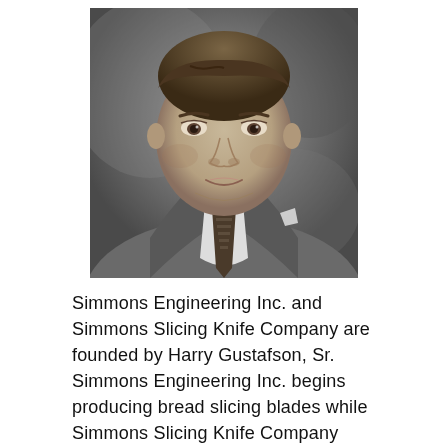[Figure (photo): Black and white portrait photograph of a man in a suit and patterned tie, believed to be Harry Gustafson, Sr.]
Simmons Engineering Inc. and Simmons Slicing Knife Company are founded by Harry Gustafson, Sr. Simmons Engineering Inc. begins producing bread slicing blades while Simmons Slicing Knife Company markets